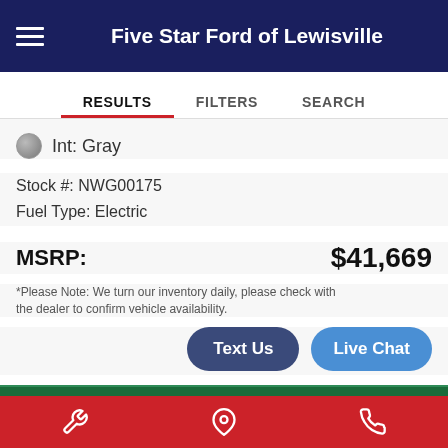Five Star Ford of Lewisville
RESULTS  FILTERS  SEARCH
Int: Gray
Stock #: NWG00175
Fuel Type: Electric
MSRP: $41,669
*Please Note: We turn our inventory daily, please check with the dealer to confirm vehicle availability.
Text Us
Live Chat
ESTIMATE PAYMENTS
GET MORE INFORMATION
WHAT'S MY CAR WORTH